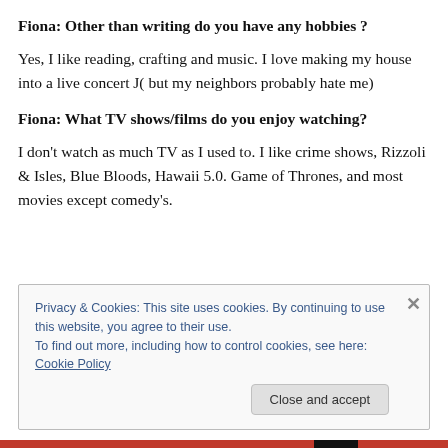Fiona: Other than writing do you have any hobbies ?
Yes, I like reading, crafting and music. I love making my house into a live concert J( but my neighbors probably hate me)
Fiona: What TV shows/films do you enjoy watching?
I don't watch as much TV as I used to. I like crime shows, Rizzoli & Isles, Blue Bloods, Hawaii 5.0. Game of Thrones, and most movies except comedy's.
Privacy & Cookies: This site uses cookies. By continuing to use this website, you agree to their use.
To find out more, including how to control cookies, see here: Cookie Policy